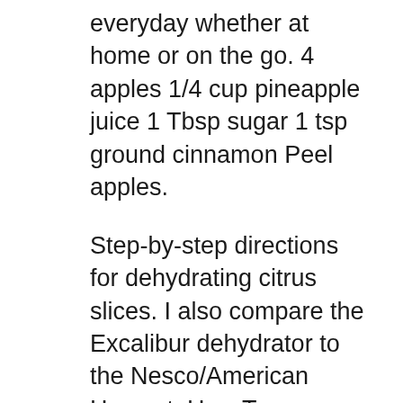everyday whether at home or on the go. 4 apples 1/4 cup pineapple juice 1 Tbsp sugar 1 tsp ground cinnamon Peel apples.
Step-by-step directions for dehydrating citrus slices. I also compare the Excalibur dehydrator to the Nesco/American Harvest. How To Dehydrate Citrus Slices (Oranges, Lemons and Limes) Step-by-step directions for dehydrating citrus slices. I also compare the Excalibur dehydrator to the Nesco/American Harvest. #beselfreliant See more Last Thoughts on the Nesco Food Dehydrator. The Nesco American Harvest Dehydrator is one of the top selling food dehydrators